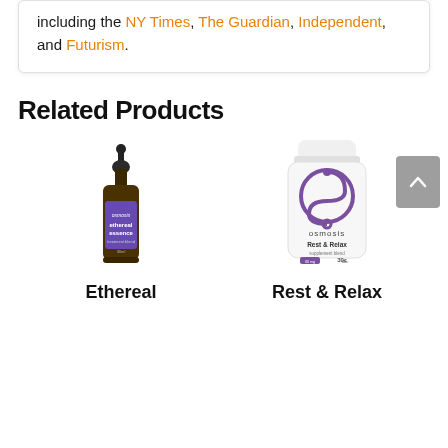including the NY Times, The Guardian, Independent, and Futurism.
Related Products
[Figure (photo): Osmosis Ethereal Essence dropper bottle - dark amber glass bottle with dropper cap and purple label]
Ethereal
[Figure (photo): Osmosis Rest & Relax supplement bottle - white plastic bottle with purple logo and label showing 30 count]
Rest & Relax